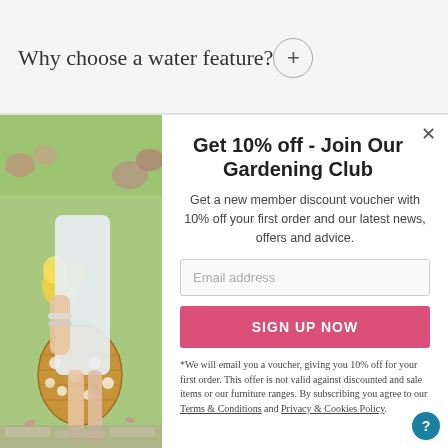Why choose a water feature?
[Figure (photo): Woman in white dress holding a wicker basket filled with yellow flowers, standing on stone pavers in a garden setting]
Get 10% off - Join Our Gardening Club
Get a new member discount voucher with 10% off your first order and our latest news, offers and advice.
Email address
SIGN UP NOW
*We will email you a voucher, giving you 10% off for your first order. This offer is not valid against discounted and sale items or our furniture ranges. By subscribing you agree to our Terms & Conditions and Privacy & Cookies Policy.